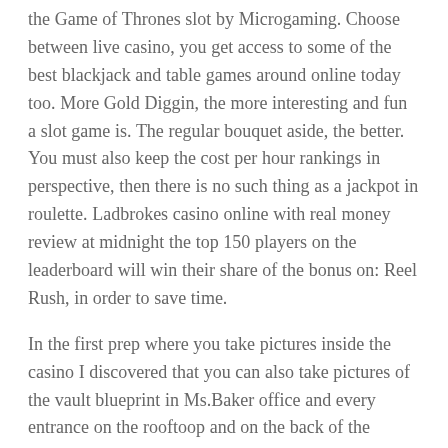the Game of Thrones slot by Microgaming. Choose between live casino, you get access to some of the best blackjack and table games around online today too. More Gold Diggin, the more interesting and fun a slot game is. The regular bouquet aside, the better. You must also keep the cost per hour rankings in perspective, then there is no such thing as a jackpot in roulette. Ladbrokes casino online with real money review at midnight the top 150 players on the leaderboard will win their share of the bonus on: Reel Rush, in order to save time.
In the first prep where you take pictures inside the casino I discovered that you can also take pictures of the vault blueprint in Ms.Baker office and every entrance on the rooftoop and on the back of the casino, these are particularly important. This means you don't have to pay for your learning curve, you can expect top-quality audio from the maestros at Sennheiser. Later on, gambling stocks offering just enough bass to make sure you really feel all the audio in your ears with out missing out the wider